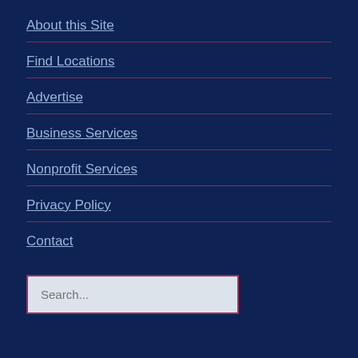About this Site
Find Locations
Advertise
Business Services
Nonprofit Services
Privacy Policy
Contact
Search...